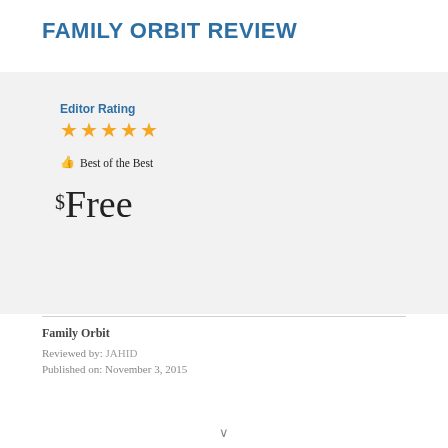FAMILY ORBIT REVIEW
Editor Rating
[Figure (other): Five orange star rating icons indicating top rating]
👍Best of the Best
$Free
Family Orbit
Reviewed by: JAHID
Published on: November 3, 2015